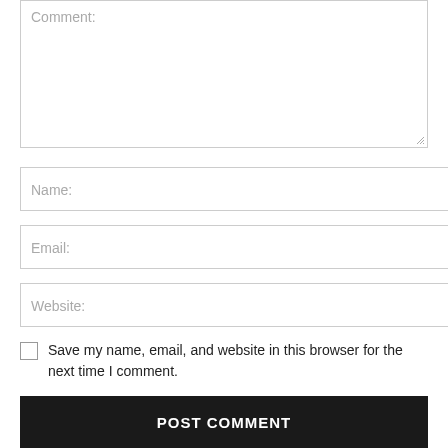Comment:
Name:
Email:
Website:
Save my name, email, and website in this browser for the next time I comment.
POST COMMENT